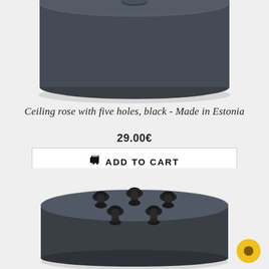[Figure (photo): Top view of a black ceiling rose (flat disc shape) seen from above, showing the smooth top surface against a light grey background.]
Ceiling rose with five holes, black - Made in Estonia
29.00€
ADD TO CART
[Figure (photo): Bottom/angled view of a black ceiling rose showing five cable entry holes with black rubber grommets on the face, against a light grey background.]